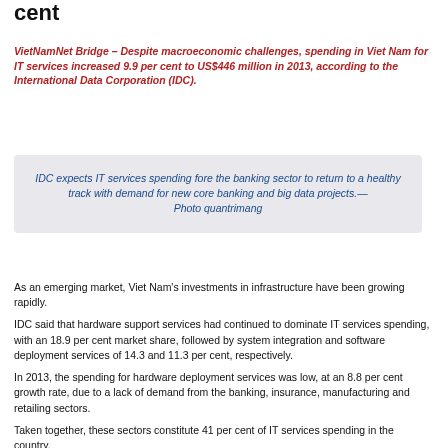cent
VietNamNet Bridge – Despite macroeconomic challenges, spending in Viet Nam for IT services increased 9.9 per cent to US$446 million in 2013, according to the International Data Corporation (IDC).
IDC expects IT services spending fore the banking sector to return to a healthy track with demand for new core banking and big data projects.— Photo quantrimang
As an emerging market, Viet Nam's investments in infrastructure have been growing rapidly.
IDC said that hardware support services had continued to dominate IT services spending, with an 18.9 per cent market share, followed by system integration and software deployment services of 14.3 and 11.3 per cent, respectively.
In 2013, the spending for hardware deployment services was low, at an 8.8 per cent growth rate, due to a lack of demand from the banking, insurance, manufacturing and retailing sectors.
Taken together, these sectors constitute 41 per cent of IT services spending in the country.